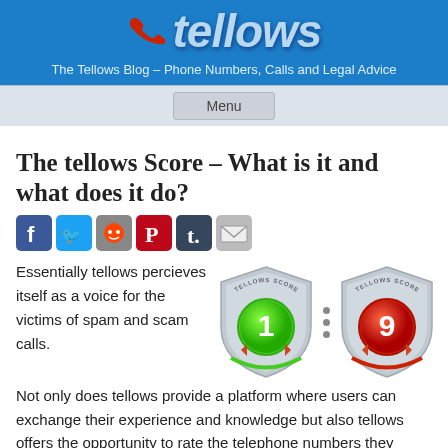[Figure (logo): Tellows logo with red phone handset icon and stylized 'tellows' text in light blue on dark blue background]
The Tellows Blog – Phone Numbers, Calls and Legal Advice
Menu
The tellows Score – What is it and what does it do?
[Figure (illustration): Social media share icons: Facebook, Twitter, Reddit, Pinterest, Tumblr, Email]
Essentially tellows percieves itself as a voice for the victims of spam and scam calls.
[Figure (illustration): Two Tellows Score shield badges: one showing score 1 (green, safe) and one showing score 9 (red, dangerous) with dots between them]
Not only does tellows provide a platform where users can exchange their experience and knowledge but also tellows offers the opportunity to rate the telephone numbers they receive calls from.